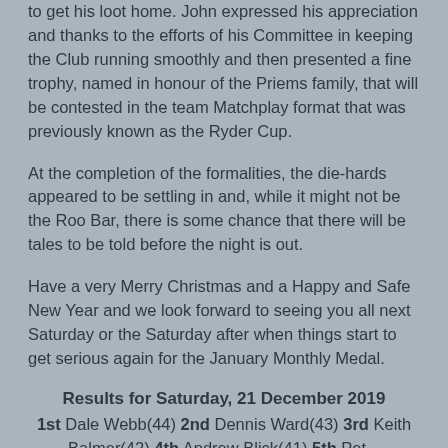to get his loot home. John expressed his appreciation and thanks to the efforts of his Committee in keeping the Club running smoothly and then presented a fine trophy, named in honour of the Priems family, that will be contested in the team Matchplay format that was previously known as the Ryder Cup.
At the completion of the formalities, the die-hards appeared to be settling in and, while it might not be the Roo Bar, there is some chance that there will be tales to be told before the night is out.
Have a very Merry Christmas and a Happy and Safe New Year and we look forward to seeing you all next Saturday or the Saturday after when things start to get serious again for the January Monthly Medal.
Results for Saturday, 21 December 2019
1st Dale Webb(44) 2nd Dennis Ward(43) 3rd Keith Balmer(42) 4th Andrew Blick(41) 5th Peter...